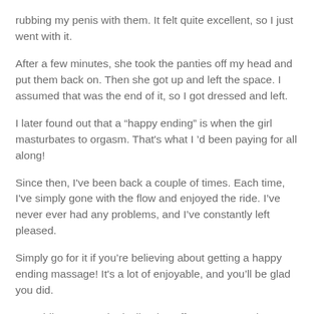rubbing my penis with them. It felt quite excellent, so I just went with it.
After a few minutes, she took the panties off my head and put them back on. Then she got up and left the space. I assumed that was the end of it, so I got dressed and left.
I later found out that a “happy ending” is when the girl masturbates to orgasm. That's what I 'd been paying for all along!
Since then, I've been back a couple of times. Each time, I've simply gone with the flow and enjoyed the ride. I've never ever had any problems, and I've constantly left pleased.
Simply go for it if you’re believing about getting a happy ending massage! It's a lot of enjoyable, and you’ll be glad you did.
Up, while you may be inclined to offer your man a happy ending, it may also be that it's far more you'll find that it's the most...